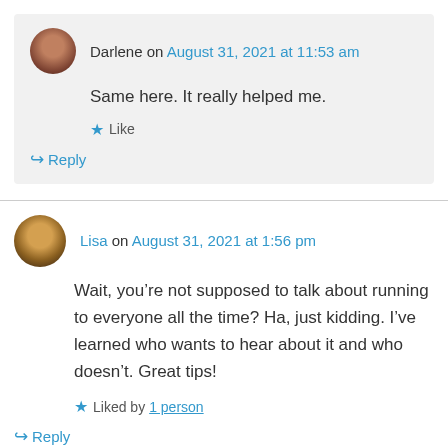Darlene on August 31, 2021 at 11:53 am
Same here. It really helped me.
Like
Reply
Lisa on August 31, 2021 at 1:56 pm
Wait, you’re not supposed to talk about running to everyone all the time? Ha, just kidding. I’ve learned who wants to hear about it and who doesn’t. Great tips!
Liked by 1 person
Reply